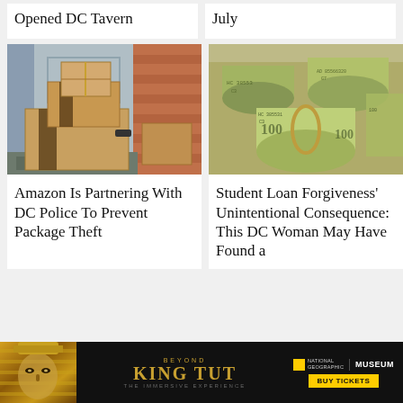Opened DC Tavern
July
[Figure (photo): Amazon packages stacked at a doorstep]
[Figure (photo): Rolls of US $100 bills bundled with rubber bands]
Amazon Is Partnering With DC Police To Prevent Package Theft
Student Loan Forgiveness' Unintentional Consequence: This DC Woman May Have Found a
[Figure (advertisement): Beyond King Tut - The Immersive Experience advertisement featuring National Geographic Museum, with Buy Tickets button]